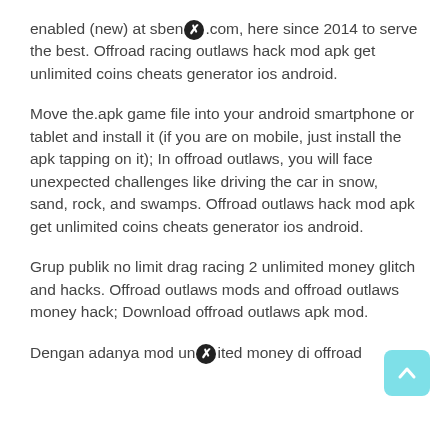enabled (new) at sben[X].com, here since 2014 to serve the best. Offroad racing outlaws hack mod apk get unlimited coins cheats generator ios android.
Move the.apk game file into your android smartphone or tablet and install it (if you are on mobile, just install the apk tapping on it); In offroad outlaws, you will face unexpected challenges like driving the car in snow, sand, rock, and swamps. Offroad outlaws hack mod apk get unlimited coins cheats generator ios android.
Grup publik no limit drag racing 2 unlimited money glitch and hacks. Offroad outlaws mods and offroad outlaws money hack; Download offroad outlaws apk mod.
Dengan adanya mod un[X]ited money di offroad